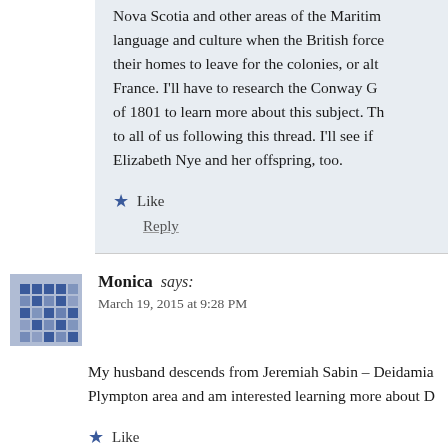Nova Scotia and other areas of the Maritim... language and culture when the British force... their homes to leave for the colonies, or alt... France. I'll have to research the Conway G... of 1801 to learn more about this subject. Th... to all of us following this thread. I'll see if... Elizabeth Nye and her offspring, too.
★ Like
Reply
Monica says:
March 19, 2015 at 9:28 PM
My husband descends from Jeremiah Sabin – Deidamia... Plympton area and am interested learning more about D...
★ Like